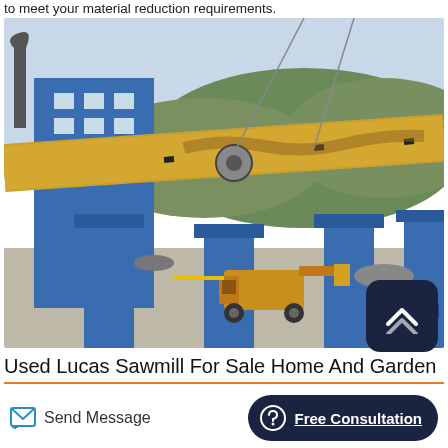to meet your material reduction requirements.
[Figure (photo): Industrial rotary kiln facility with large yellow cylindrical drum supported by blue steel columns. A yellow loader/bulldozer sits in the foreground on a concrete pad. Green hillside visible in background.]
Used Lucas Sawmill For Sale Home And Garden
Send Message
Free Consultation